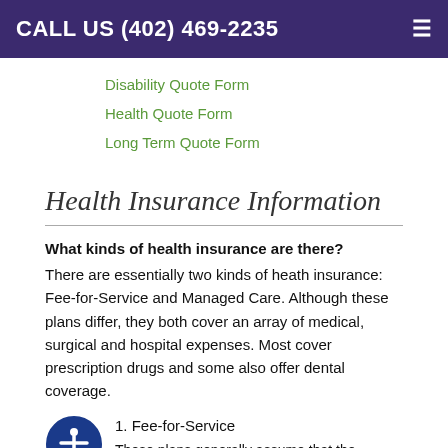CALL US (402) 469-2235
Disability Quote Form
Health Quote Form
Long Term Quote Form
Health Insurance Information
What kinds of health insurance are there?
There are essentially two kinds of heath insurance: Fee-for-Service and Managed Care. Although these plans differ, they both cover an array of medical, surgical and hospital expenses. Most cover prescription drugs and some also offer dental coverage.
Fee-for-Service
These plans generally assume that the medical professional will be paid a fee for each service provided to the patient. Patients are seen by a